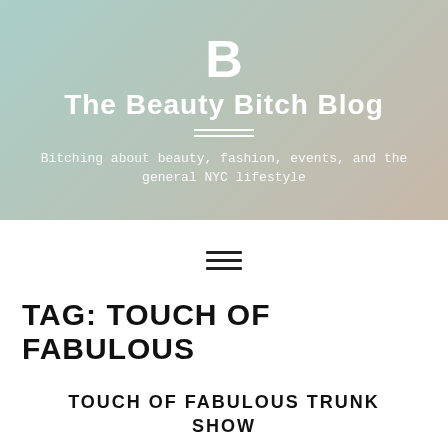[Figure (illustration): Blog header banner with gradient background (teal to peach), large white bold 'B' logo, blog title 'The Beauty Bitch Blog', double horizontal divider lines, and monospace tagline text]
The Beauty Bitch Blog
Bitching about beauty, fashion, events, and the general NYC lifestyle
[Figure (other): Hamburger menu icon (three horizontal lines)]
TAG: TOUCH OF FABULOUS
TOUCH OF FABULOUS TRUNK SHOW